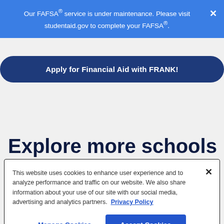Our FAFSA® service is under maintenance. Please visit studentaid.gov to complete your FAFSA®.
Apply for Financial Aid with FRANK!
Explore more schools
This website uses cookies to enhance user experience and to analyze performance and traffic on our website. We also share information about your use of our site with our social media, advertising and analytics partners. Privacy Policy
Manage Cookies
Accept Cookies